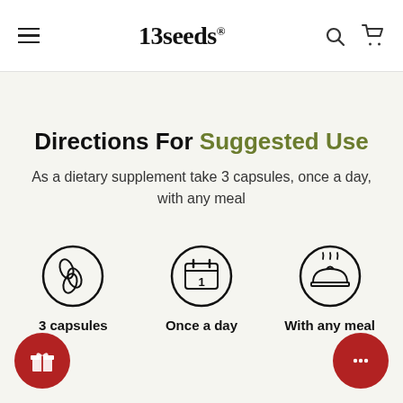13seeds® — navigation header with hamburger menu, search icon, and cart icon
Directions For Suggested Use
As a dietary supplement take 3 capsules, once a day, with any meal
[Figure (infographic): Three circular icons: capsules icon (3 capsules), calendar icon with number 1 (once a day), and meal/dish icon (with any meal). Labels: 3 capsules, Once a day, With any meal.]